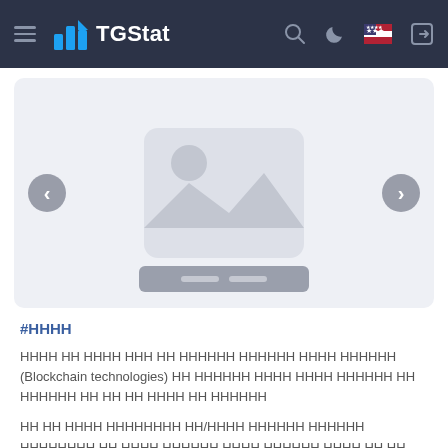TGStat navigation bar with hamburger menu, logo, search, dark mode, flag, and exit icons
[Figure (screenshot): Image carousel placeholder with a grey image icon in center, left/right navigation arrows, and a caption bar at the bottom]
#НННН
НННН НН НННН НН НН НННН НННН НННН НННННН (Blockchain technologies) НН НННННН НННН НННН НННННН НН НННННН НН НН НН НННН НН НННННН
НН НН НННН НННННННН НН/НННН НННННН НННННН НННННННН НН НННН НННННН НННН НННННН НННН НН НН 808/06 НННН 6 (9) НННН НННН НННН "ННННННН NNN ННННННН...